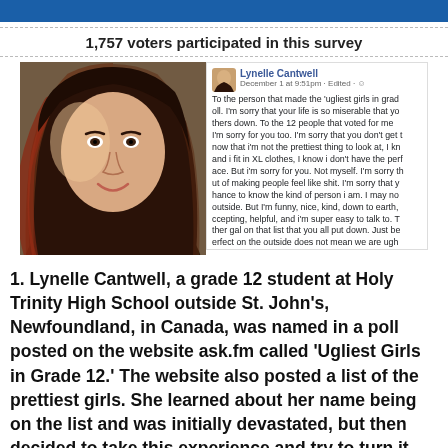1,757 voters participated in this survey
[Figure (screenshot): Screenshot of a Facebook post by Lynelle Cantwell alongside a photo of a teenage girl with long brown hair. The Facebook post reads: 'To the person that made the ugliest girls in grade poll. I'm sorry that your life is so miserable that yo thers down. To the 12 people that voted for me I'm sorry for you too. I'm sorry that you don't get t now that I'm not the prettiest thing to look at, I kn and I fit in XL clothes, I know i don't have the perf ace. But I'm sorry for you. Not myself. I'm sorry th ut of making people feel like shit. I'm sorry that y hance to know the kind of person i am. I may no outside. But I'm funny, nice, kind, down to earth, ccepting, helpful, and I'm super easy to talk to. T ther gal on that list that you all put down. Just be erfect on the outside does not mean we are ug hen i feel sorry for you. Like seriously? Get a life']
1. Lynelle Cantwell, a grade 12 student at Holy Trinity High School outside St. John's, Newfoundland, in Canada, was named in a poll posted on the website ask.fm called 'Ugliest Girls in Grade 12.' The website also posted a list of the prettiest girls. She learned about her name being on the list and was initially devastated, but then decided to take this experience and try to turn it into a positive. She posted a message on Facebook to address the bullies. "I'm sorry that your life is so miserable that you have to